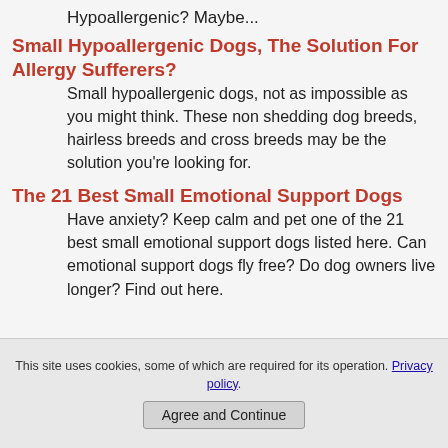Hypoallergenic? Maybe...
Small Hypoallergenic Dogs, The Solution For Allergy Sufferers?
Small hypoallergenic dogs, not as impossible as you might think. These non shedding dog breeds, hairless breeds and cross breeds may be the solution you're looking for.
The 21 Best Small Emotional Support Dogs
Have anxiety? Keep calm and pet one of the 21 best small emotional support dogs listed here. Can emotional support dogs fly free? Do dog owners live longer? Find out here.
This site uses cookies, some of which are required for its operation. Privacy policy. Agree and Continue